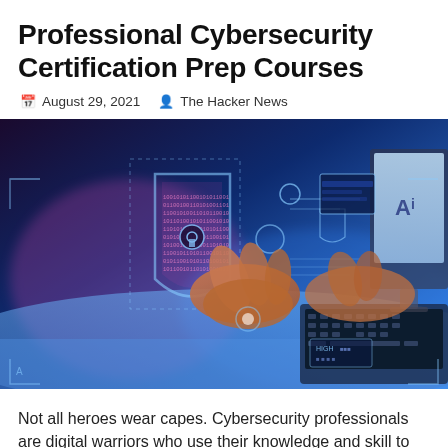Professional Cybersecurity Certification Prep Courses
August 29, 2021   The Hacker News
[Figure (photo): Cybersecurity themed photo showing hands typing on a laptop with a glowing digital shield overlay featuring a keyhole, binary code, and holographic UI elements on a blue-lit background.]
Not all heroes wear capes. Cybersecurity professionals are digital warriors who use their knowledge and skill to